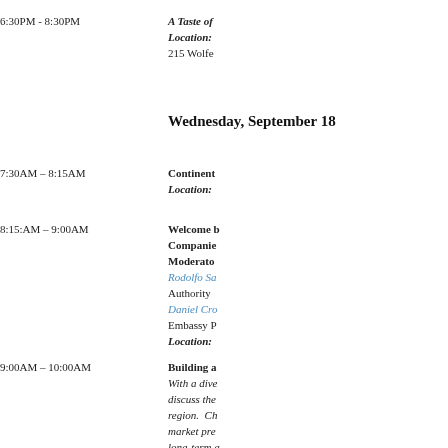6:30PM - 8:30PM | A Taste of ... Location: ... 215 Wolfe ...
Wednesday, September 18
7:30AM – 8:15AM | Continental ... Location: ...
8:15:AM – 9:00AM | Welcome b... Companies... Moderato... Rodolfo Sa... Authority ... Daniel Cr... Embassy P... Location: ...
9:00AM – 10:00AM | Building a... With a dive... discuss the... region. Ch... market pre... long-term a... new oppor... member co...